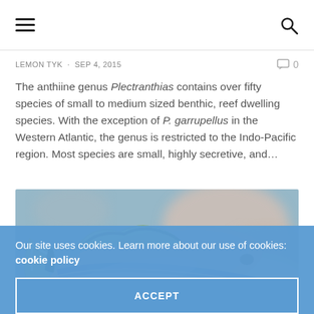Navigation bar with hamburger menu and search icon
LEMON TYK · SEP 4, 2015   0
The anthiine genus Plectranthias contains over fifty species of small to medium sized benthic, reef dwelling species. With the exception of P. garrupellus in the Western Atlantic, the genus is restricted to the Indo-Pacific region. Most species are small, highly secretive, and…
[Figure (photo): Close-up photograph of a colorful reef fish (Plectranthias species) with iridescent blue, yellow and pink coloring, against a blurred rocky background.]
Our site uses cookies. Learn more about our use of cookies: cookie policy
ACCEPT